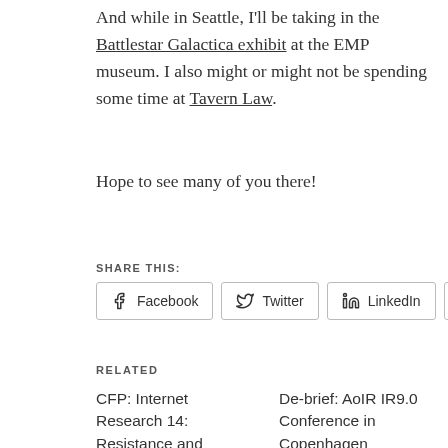And while in Seattle, I'll be taking in the Battlestar Galactica exhibit at the EMP museum. I also might or might not be spending some time at Tavern Law.
Hope to see many of you there!
SHARE THIS:
Facebook  Twitter  LinkedIn  More
RELATED
CFP: Internet Research 14: Resistance and Appropriation (Denver, October 2013)
December 5, 2012
In "Events"
De-brief: AoIR IR9.0 Conference in Copenhagen
October 18, 2008
In "Events"